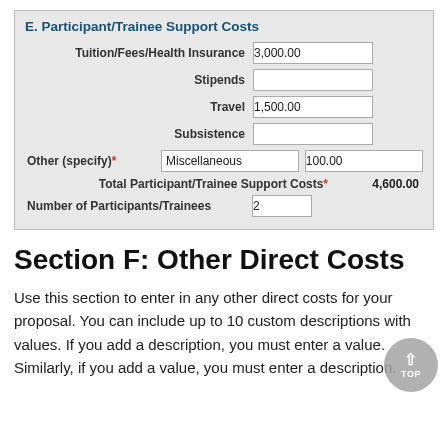| Field | Description/Value | Amount |
| --- | --- | --- |
| E. Participant/Trainee Support Costs |  |  |
| Tuition/Fees/Health Insurance |  | 3,000.00 |
| Stipends |  |  |
| Travel |  | 1,500.00 |
| Subsistence |  |  |
| Other (specify)* | Miscellaneous | 100.00 |
| Total Participant/Trainee Support Costs* |  | 4,600.00 |
| Number of Participants/Trainees | 2 |  |
Section F: Other Direct Costs
Use this section to enter in any other direct costs for your proposal. You can include up to 10 custom descriptions with values. If you add a description, you must enter a value.  Similarly, if you add a value, you must enter a description.